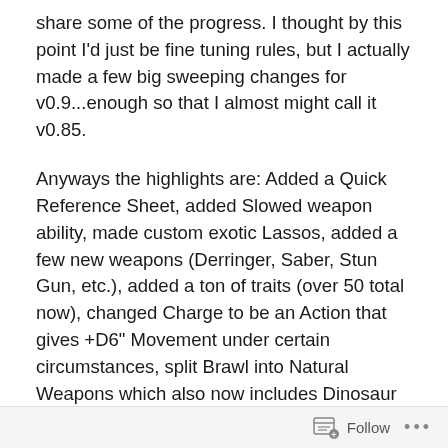share some of the progress. I thought by this point I'd just be fine tuning rules, but I actually made a few big sweeping changes for v0.9...enough so that I almost might call it v0.85.
Anyways the highlights are: Added a Quick Reference Sheet, added Slowed weapon ability, made custom exotic Lassos, added a few new weapons (Derringer, Saber, Stun Gun, etc.), added a ton of traits (over 50 total now), changed Charge to be an Action that gives +D6" Movement under certain circumstances, split Brawl into Natural Weapons which also now includes Dinosaur attacks (like Trample and Gore), removed Levels and awarded IP/ND on a per-kill basis, renamed Leadership to more flavorful Yeehaw, put the rules under a non-
Follow ···